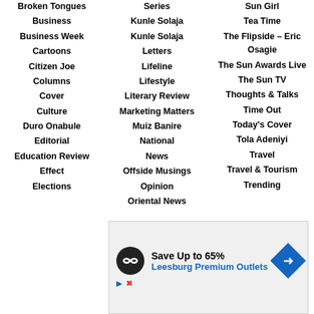Broken Tongues
Business
Business Week
Cartoons
Citizen Joe
Columns
Cover
Culture
Duro Onabule
Editorial
Education Review
Effect
Elections
Series
Kunle Solaja
Kunle Solaja
Letters
Lifeline
Lifestyle
Literary Review
Marketing Matters
Muiz Banire
National
News
Offside Musings
Opinion
Oriental News
Sun Girl
Tea Time
The Flipside – Eric Osagie
The Sun Awards Live
The Sun TV
Thoughts & Talks
Time Out
Today's Cover
Tola Adeniyi
Travel
Travel & Tourism
Trending
[Figure (infographic): Advertisement banner: Save Up to 65% Leesburg Premium Outlets with logo and arrow icon]